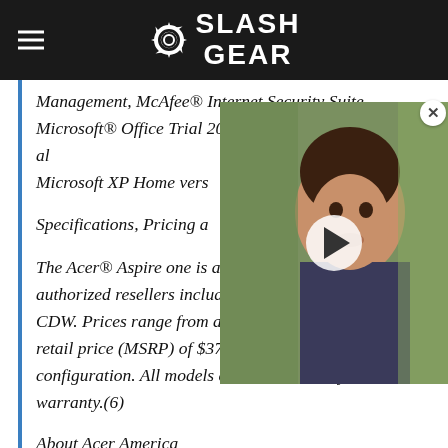SlashGear
Management, McAfee® Internet Security Suite, Microsoft® Office Trial 2007 and Adobe® Reader® are also included. Microsoft XP Home vers...
Specifications, Pricing a...
The Acer® Aspire one is available now via Acer's authorized resellers including BestBuy, Circuit City and CDW. Prices range from a manufacturer's suggested retail price (MSRP) of $379 to $499 depending on configuration. All models come with a one-year limited warranty.(6)
About Acer America